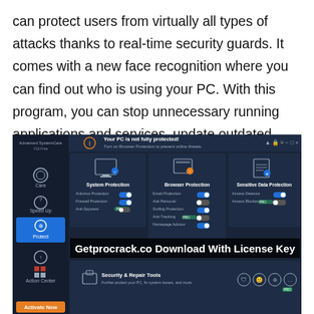can protect users from virtually all types of attacks thanks to real-time security guards. It comes with a new face recognition where you can find out who is using your PC. With this program, you can stop unnecessary running applications and services, update outdated drivers, and optimize various parts of the system.
[Figure (screenshot): Screenshot of Advanced SystemCare application showing protection dashboard with System Protection, Browser Protection, and Sensitive Data Protection panels. Overlaid text reads 'Getprocrack.co Download With License Key'. Bottom panel shows Security & Repair Tools.]